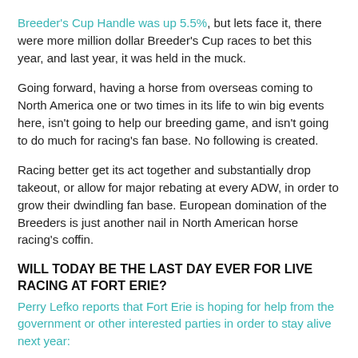Breeder's Cup Handle was up 5.5%, but lets face it, there were more million dollar Breeder's Cup races to bet this year, and last year, it was held in the muck.
Going forward, having a horse from overseas coming to North America one or two times in its life to win big events here, isn't going to help our breeding game, and isn't going to do much for racing's fan base. No following is created.
Racing better get its act together and substantially drop takeout, or allow for major rebating at every ADW, in order to grow their dwindling fan base. European domination of the Breeders is just another nail in North American horse racing's coffin.
WILL TODAY BE THE LAST DAY EVER FOR LIVE RACING AT FORT ERIE?
Perry Lefko reports that Fort Erie is hoping for help from the government or other interested parties in order to stay alive next year: